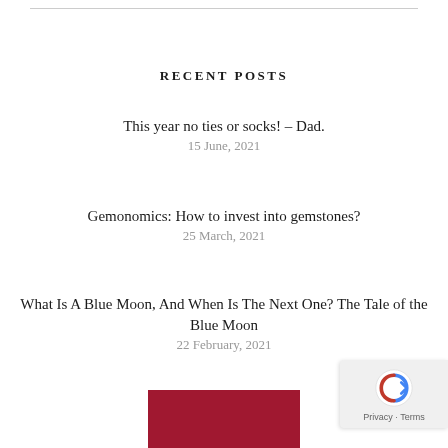RECENT POSTS
This year no ties or socks! – Dad.
15 June, 2021
Gemonomics: How to invest into gemstones?
25 March, 2021
What Is A Blue Moon, And When Is The Next One? The Tale of the Blue Moon
22 February, 2021
[Figure (other): Red rectangular block at the bottom of the page, partially visible]